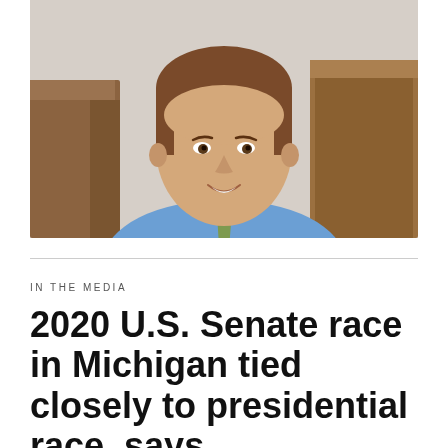[Figure (photo): Professional headshot of a man with short brown hair wearing a blue button-down shirt and a green patterned tie, smiling, with wooden furniture visible in the background]
IN THE MEDIA
2020 U.S. Senate race in Michigan tied closely to presidential race, says